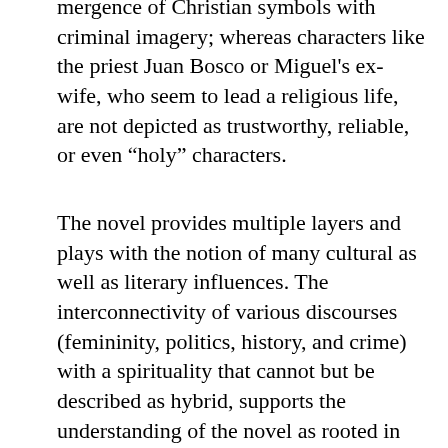mergence of Christian symbols with criminal imagery; whereas characters like the priest Juan Bosco or Miguel's ex-wife, who seem to lead a religious life, are not depicted as trustworthy, reliable, or even "holy" characters.
The novel provides multiple layers and plays with the notion of many cultural as well as literary influences. The interconnectivity of various discourses (femininity, politics, history, and crime) with a spirituality that cannot but be described as hybrid, supports the understanding of the novel as rooted in the borderlands. Castillo seeks to combine the saintliness of her characters with their realness. They are, as Marissa K. Lopez argues characters who represent the reality of the border region but we should not forget that Castillo has decided upon naming her characters after archangels and attributing them with saintly characteristics. "Tho